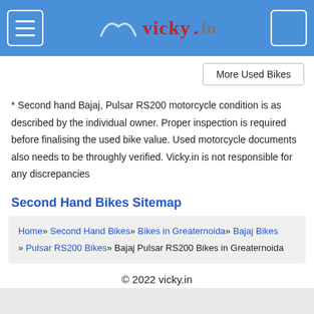vicky.in
More Used Bikes
* Second hand Bajaj, Pulsar RS200 motorcycle condition is as described by the individual owner. Proper inspection is required before finalising the used bike value. Used motorcycle documents also needs to be throughly verified. Vicky.in is not responsible for any discrepancies
Second Hand Bikes Sitemap
Home » Second Hand Bikes » Bikes in Greaternoida » Bajaj Bikes » Pulsar RS200 Bikes » Bajaj Pulsar RS200 Bikes in Greaternoida
© 2022 vicky.in